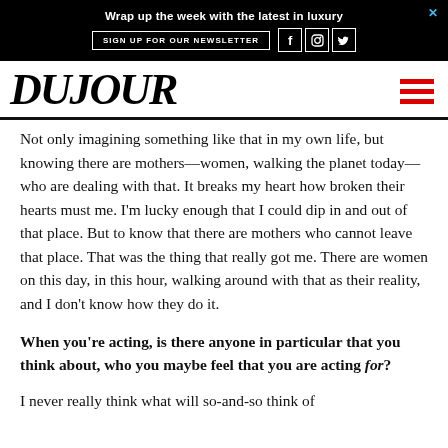[Figure (other): DuJour advertisement banner: black background, text 'Wrap up the week with the latest in luxury', button 'SIGN UP FOR OUR NEWSLETTER', social media icons for Facebook, Instagram, Twitter, and close X button]
DUJOUR
Not only imagining something like that in my own life, but knowing there are mothers—women, walking the planet today—who are dealing with that. It breaks my heart how broken their hearts must me. I'm lucky enough that I could dip in and out of that place. But to know that there are mothers who cannot leave that place. That was the thing that really got me. There are women on this day, in this hour, walking around with that as their reality, and I don't know how they do it.
When you're acting, is there anyone in particular that you think about, who you maybe feel that you are acting for?
I never really think what will so-and-so think of